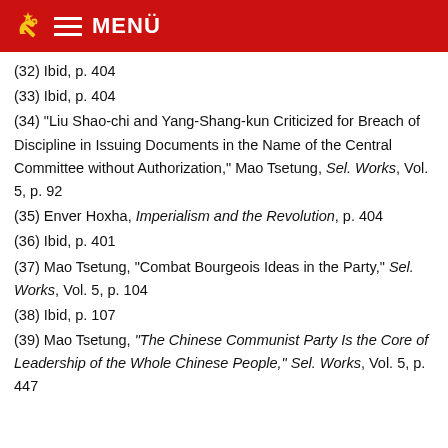MENÜ
(32) Ibid, p. 404
(33) Ibid, p. 404
(34) "Liu Shao-chi and Yang-Shang-kun Criticized for Breach of Discipline in Issuing Documents in the Name of the Central Committee without Authorization," Mao Tsetung, Sel. Works, Vol. 5, p. 92
(35) Enver Hoxha, Imperialism and the Revolution, p. 404
(36) Ibid, p. 401
(37) Mao Tsetung, "Combat Bourgeois Ideas in the Party," Sel. Works, Vol. 5, p. 104
(38) Ibid, p. 107
(39) Mao Tsetung, "The Chinese Communist Party Is the Core of Leadership of the Whole Chinese People," Sel. Works, Vol. 5, p. 447